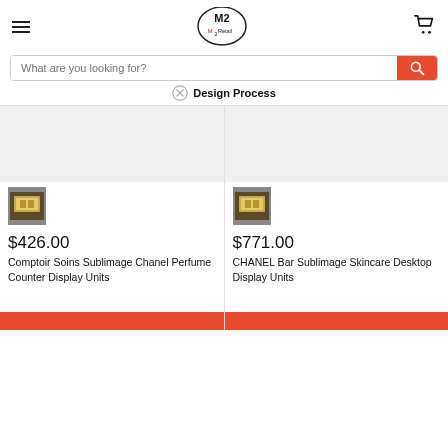[Figure (logo): M2 Retail logo — circular badge with M2 and Retail text]
What are you looking for?
Design Process
[Figure (photo): Product thumbnail — Comptoir Soins Sublimage Chanel Perfume Counter Display Units]
$426.00
Comptoir Soins Sublimage Chanel Perfume Counter Display Units
[Figure (photo): Product thumbnail — CHANEL Bar Sublimage Skincare Desktop Display Units]
$771.00
CHANEL Bar Sublimage Skincare Desktop Display Units